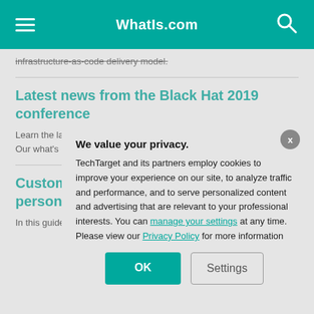WhatIs.com
infrastructure-as-code delivery model.
Latest news from the Black Hat 2019 conference
Learn the latest from this year's Black Hat conference, Aug. 3 to 8. Our what's new in in defense tactics.
Customer da personalizati
In this guide, lea customer data p from disparate s degree custome
[Figure (screenshot): Privacy consent modal dialog with title 'We value your privacy.' and body text about TechTarget cookies, with links to 'manage your settings' and 'Privacy Policy', and OK and Settings buttons.]